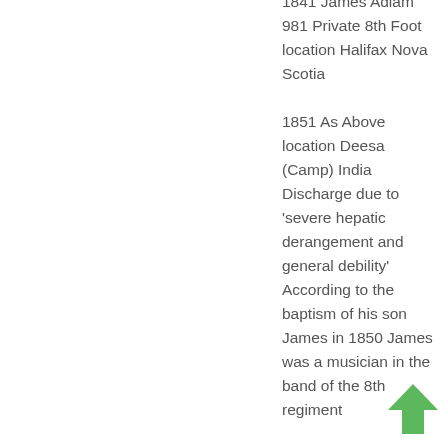1841 James Adlam 981 Private 8th Foot location Halifax Nova Scotia 1851 As Above location Deesa (Camp) India Discharge due to 'severe hepatic derangement and general debility' According to the baptism of his son James in 1850 James was a musician in the band of the 8th regiment
[Figure (illustration): Green upward-pointing arrow icon in the bottom right corner]